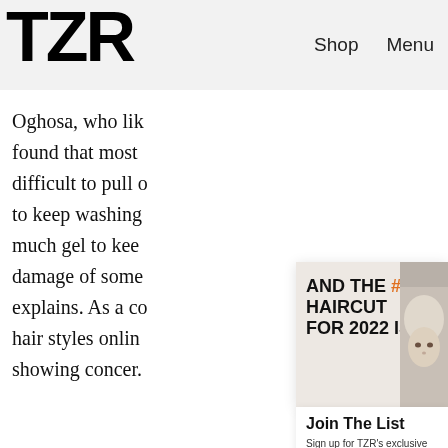TZR   Shop   Menu
Oghosa, who lik found that most difficult to pull o to keep washing much gel to kee damage of some explains. As a co hair styles onlin showing concer.
[Figure (screenshot): Ad banner with text: AND THE #1 HAIRCUT FOR 2022 IS... with a woman's face photo on the right. Close button in top right.]
Join The List
Sign up for TZR's exclusive email list to uncover this season's top trends
Email address   Subscribe